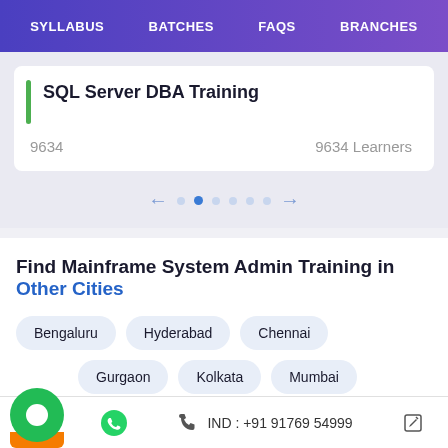SYLLABUS  BATCHES  FAQS  BRANCHES
SQL Server DBA Training
9634   9634 Learners
← • • • • • →
Find Mainframe System Admin Training in Other Cities
Bengaluru
Hyderabad
Chennai
Gurgaon
Kolkata
Mumbai
IND : +91 91769 54999